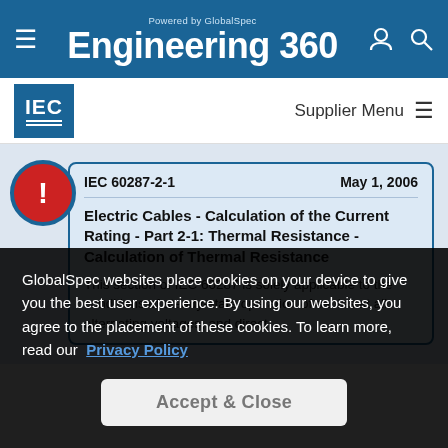Powered by GlobalSpec Engineering 360
[Figure (logo): IEC logo - blue square with IEC text and horizontal lines]
Supplier Menu
IEC 60287-2-1   May 1, 2006
Electric Cables - Calculation of the Current Rating - Part 2-1: Thermal Resistance - Calculation of Thermal Resistance
This section of IEC 60287 is solely applicable to the conditions of steady-state operation of cables at all alternating voltages, and direct
GlobalSpec websites place cookies on your device to give you the best user experience. By using our websites, you agree to the placement of these cookies. To learn more, read our Privacy Policy
Accept & Close